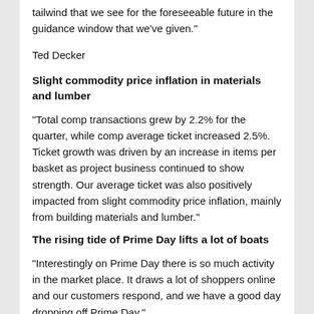tailwind that we see for the foreseeable future in the guidance window that we've given."
Ted Decker
Slight commodity price inflation in materials and lumber
“Total comp transactions grew by 2.2% for the quarter, while comp average ticket increased 2.5%. Ticket growth was driven by an increase in items per basket as project business continued to show strength. Our average ticket was also positively impacted from slight commodity price inflation, mainly from building materials and lumber.”
The rising tide of Prime Day lifts a lot of boats
“Interestingly on Prime Day there is so much activity in the market place. It draws a lot of shoppers online and our customers respond, and we have a good day dropping off Prime Day.”